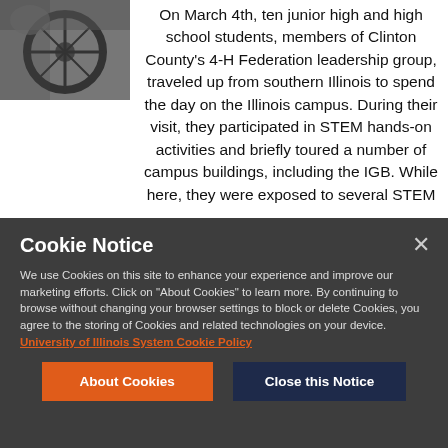[Figure (photo): Photo of a person working on or near a bicycle wheel, shot from above at an angle.]
On March 4th, ten junior high and high school students, members of Clinton County's 4-H Federation leadership group, traveled up from southern Illinois to spend the day on the Illinois campus. During their visit, they participated in STEM hands-on activities and briefly toured a number of campus buildings, including the IGB. While here, they were exposed to several STEM
Cookie Notice
We use Cookies on this site to enhance your experience and improve our marketing efforts. Click on "About Cookies" to learn more. By continuing to browse without changing your browser settings to block or delete Cookies, you agree to the storing of Cookies and related technologies on your device. University of Illinois System Cookie Policy
About Cookies
Close this Notice